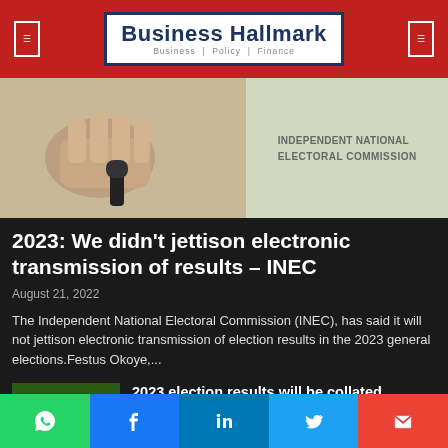Business Hallmark — Business | Policy | Finance
[Figure (photo): Hero image showing hands (fist/handshake) on left and INDEPENDENT NATIONAL ELECTORAL COMMISSION text/logo on right]
2023: We didn't jettison electronic transmission of results – INEC
August 21, 2022
The Independent National Electoral Commission (INEC), has said it will not jettison electronic transmission of election results in the 2023 general elections.Festus Okoye,...
[Figure (photo): Thumbnail photo of man speaking at podium with '019 GE' text visible in background]
2023 election results will be collated manually –INEC
August 21, 2022
[Figure (photo): Thumbnail photo of people at what appears to be a gathering or press conference]
Obasanjo cautions Tinubu's supporters over endorsement claim
August 20, 2022